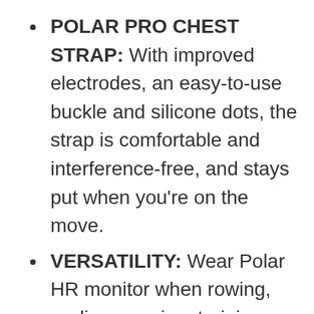POLAR PRO CHEST STRAP: With improved electrodes, an easy-to-use buckle and silicone dots, the strap is comfortable and interference-free, and stays put when you're on the move.
VERSATILITY: Wear Polar HR monitor when rowing, cycling, running, training indoors or swimming. Polar H10 is fully waterproof and it has internal memory for one training session.
SOFTWARE UPDATES: Via Polar Beat app to keep your HRM up-to-